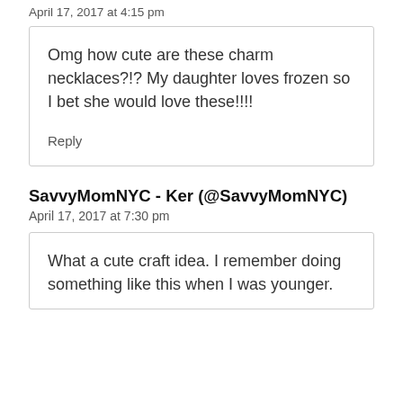April 17, 2017 at 4:15 pm
Omg how cute are these charm necklaces?!? My daughter loves frozen so I bet she would love these!!!!
Reply
SavvyMomNYC - Ker (@SavvyMomNYC)
April 17, 2017 at 7:30 pm
What a cute craft idea. I remember doing something like this when I was younger.